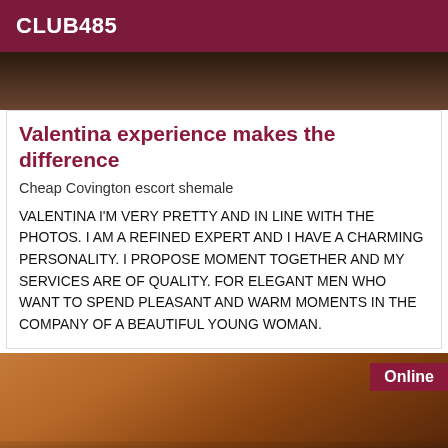CLUB485
[Figure (photo): Top portion of a photo, dark toned image cropped at top]
Valentina experience makes the difference
Cheap Covington escort shemale
VALENTINA I'M VERY PRETTY AND IN LINE WITH THE PHOTOS. I AM A REFINED EXPERT AND I HAVE A CHARMING PERSONALITY. I PROPOSE MOMENT TOGETHER AND MY SERVICES ARE OF QUALITY. FOR ELEGANT MEN WHO WANT TO SPEND PLEASANT AND WARM MOMENTS IN THE COMPANY OF A BEAUTIFUL YOUNG WOMAN.
[Figure (photo): Photo of a person in lingerie, online badge visible in top right corner]